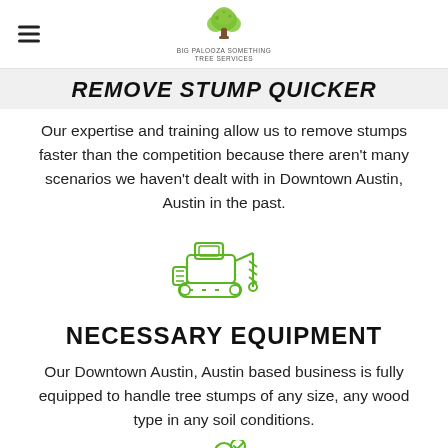[Logo: tree services company] [Hamburger menu icon]
REMOVE STUMP QUICKER
Our expertise and training allow us to remove stumps faster than the competition because there aren't many scenarios we haven't dealt with in Downtown Austin, Austin in the past.
[Figure (illustration): Green line-art icon of a stump grinder / excavator machine with a drill auger attachment on tracks]
NECESSARY EQUIPMENT
Our Downtown Austin, Austin based business is fully equipped to handle tree stumps of any size, any wood type in any soil conditions.
[Figure (illustration): Green line-art icon of a person/contractor with a checkmark badge, partial view at bottom]
(512) 883 - 0298